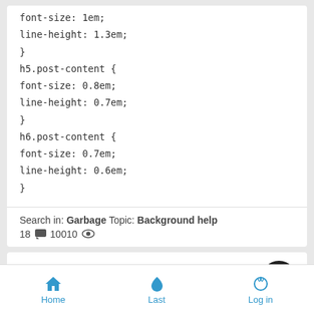font-size: 1em;
line-height: 1.3em;
}
h5.post-content {
font-size: 0.8em;
line-height: 0.7em;
}
h6.post-content {
font-size: 0.7em;
line-height: 0.6em;
}
Search in: Garbage Topic: Background help
18 [bubble] 10010 [eye]
Tried to redirect to potentially insecure url.
by Chocoladesnoepje on January 13th 2015, 5:50 pm
Mostly working on my css:
Home   Last   Log in